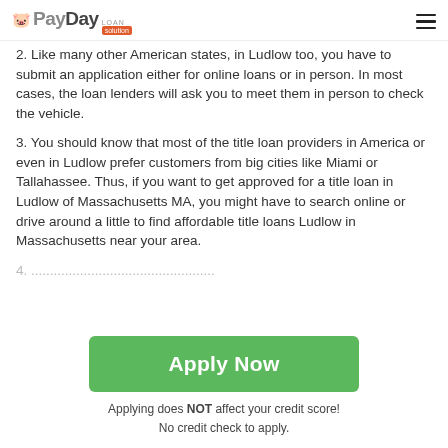PayDay Loan Solution
2. Like many other American states, in Ludlow too, you have to submit an application either for online loans or in person. In most cases, the loan lenders will ask you to meet them in person to check the vehicle.
3. You should know that most of the title loan providers in America or even in Ludlow prefer customers from big cities like Miami or Tallahassee. Thus, if you want to get approved for a title loan in Ludlow of Massachusetts MA, you might have to search online or drive around a little to find affordable title loans Ludlow in Massachusetts near your area.
Apply Now
Applying does NOT affect your credit score! No credit check to apply.